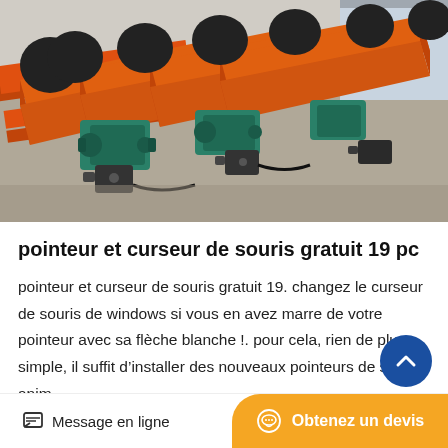[Figure (photo): Industrial orange conveyor/screw equipment with green gearboxes and black electric motors arranged in a factory setting]
pointeur et curseur de souris gratuit 19 pc
pointeur et curseur de souris gratuit 19. changez le curseur de souris de windows si vous en avez marre de votre pointeur avec sa flèche blanche !. pour cela, rien de plus simple, il suffit d’installer des nouveaux pointeurs de souris animés...
Message en ligne | Obtenez un devis